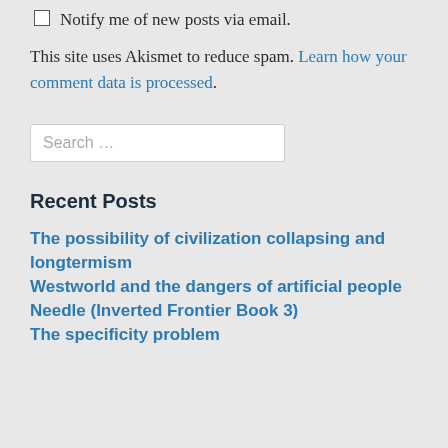Notify me of new posts via email.
This site uses Akismet to reduce spam. Learn how your comment data is processed.
Search …
Recent Posts
The possibility of civilization collapsing and longtermism
Westworld and the dangers of artificial people
Needle (Inverted Frontier Book 3)
The specificity problem